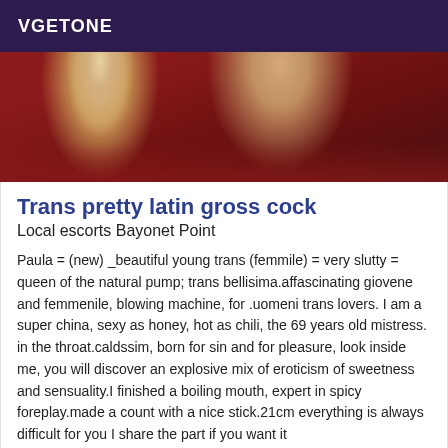VGETONE
[Figure (photo): Partial photo of a person wearing a dark red/maroon top, showing neck and chest area with blonde hair visible on the left side.]
Trans pretty latin gross cock
Local escorts Bayonet Point
Paula = (new) _beautiful young trans (femmile) = very slutty = queen of the natural pump; trans bellisima.affascinating giovene and femmenile, blowing machine, for .uomeni trans lovers. I am a super china, sexy as honey, hot as chili, the 69 years old mistress. in the throat.caldssim, born for sin and for pleasure, look inside me, you will discover an explosive mix of eroticism of sweetness and sensuality.I finished a boiling mouth, expert in spicy foreplay.made a count with a nice stick.21cm everything is always difficult for you I share the part if you want it